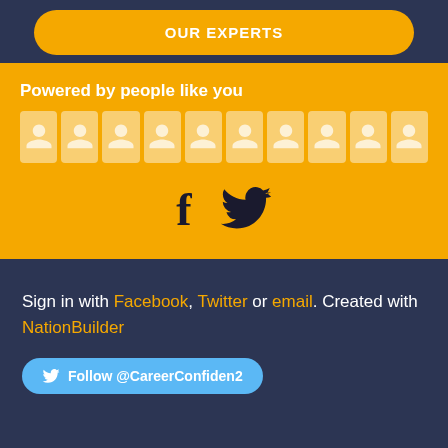OUR EXPERTS
Powered by people like you
[Figure (illustration): Social media icons: Facebook and Twitter logos]
Sign in with Facebook, Twitter or email. Created with NationBuilder
Follow @CareerConfiden2